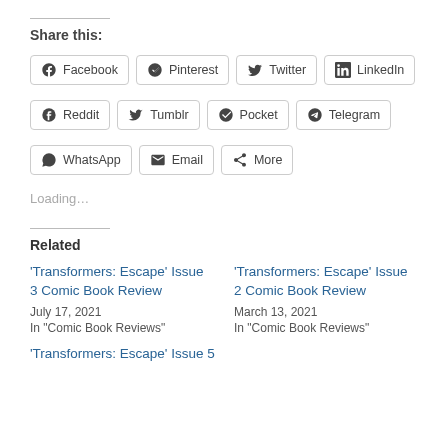Share this:
Facebook
Pinterest
Twitter
LinkedIn
Reddit
Tumblr
Pocket
Telegram
WhatsApp
Email
More
Loading...
Related
'Transformers: Escape' Issue 3 Comic Book Review
July 17, 2021
In “Comic Book Reviews”
'Transformers: Escape' Issue 2 Comic Book Review
March 13, 2021
In “Comic Book Reviews”
'Transformers: Escape' Issue 5